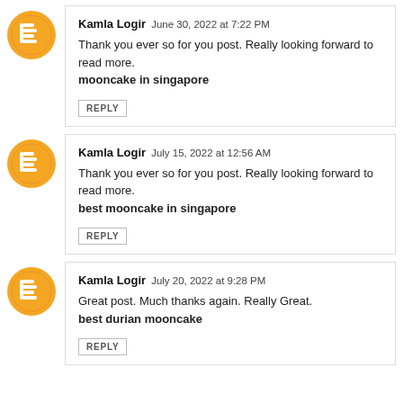Kamla Logir  June 30, 2022 at 7:22 PM
Thank you ever so for you post. Really looking forward to read more.
mooncake in singapore
REPLY
Kamla Logir  July 15, 2022 at 12:56 AM
Thank you ever so for you post. Really looking forward to read more.
best mooncake in singapore
REPLY
Kamla Logir  July 20, 2022 at 9:28 PM
Great post. Much thanks again. Really Great.
best durian mooncake
REPLY